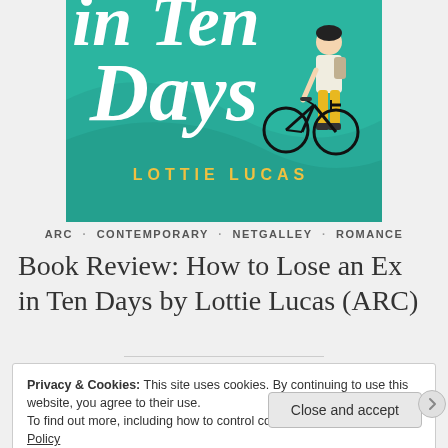[Figure (illustration): Book cover for 'How to Lose an Ex in Ten Days' by Lottie Lucas. Teal/turquoise background with white italic serif title text 'in Ten Days' (top cropped showing 'in Ten' and 'Days'), yellow spaced-letter author name 'LOTTIE LUCAS', and an illustrated figure of a person in yellow trousers standing with a bicycle.]
ARC · CONTEMPORARY · NETGALLEY · ROMANCE
Book Review: How to Lose an Ex in Ten Days by Lottie Lucas (ARC)
Privacy & Cookies: This site uses cookies. By continuing to use this website, you agree to their use.
To find out more, including how to control cookies, see here: Cookie Policy
Close and accept